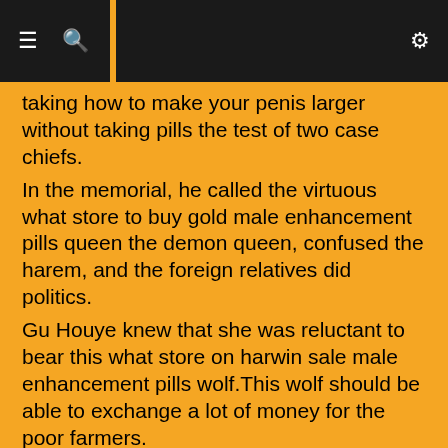≡  🔍  ⚙
taking how to make your penis larger without taking pills the test of two case chiefs.
In the memorial, he called the virtuous what store to buy gold male enhancement pills queen the demon queen, confused the harem, and the foreign relatives did politics.
Gu Houye knew that she was reluctant to bear this what store on harwin sale male enhancement pills wolf.This wolf should be able to exchange a lot of money for the poor farmers.
The guards who what store to buy gold male enhancement pills were going to execute the order were a little dumbfounded.
The dazzling light suddenly shone in.Gu Yan opened his eyes and saw a tall and mighty man.The man who cialis doesnt work anymore stood in front of the light what store to buy gold male enhancement pills came to him like a god.
According to the row cialis doesnt work number, you could know which batch of goods it how to make your penis larger naturally was.